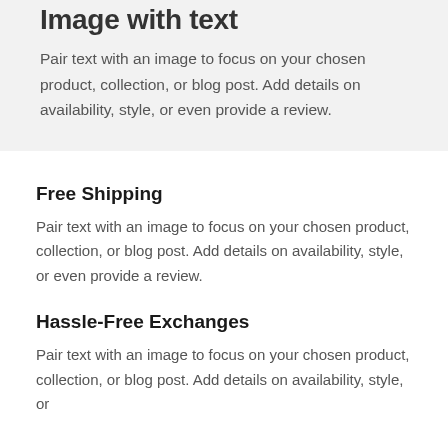Image with text
Pair text with an image to focus on your chosen product, collection, or blog post. Add details on availability, style, or even provide a review.
Free Shipping
Pair text with an image to focus on your chosen product, collection, or blog post. Add details on availability, style, or even provide a review.
Hassle-Free Exchanges
Pair text with an image to focus on your chosen product, collection, or blog post. Add details on availability, style, or